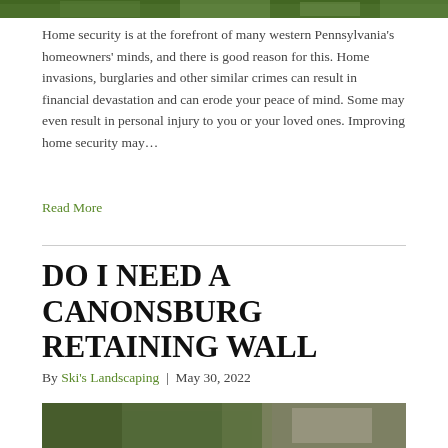[Figure (photo): Top portion of an outdoor/home security image, cropped at the top of the page]
Home security is at the forefront of many western Pennsylvania's homeowners' minds, and there is good reason for this. Home invasions, burglaries and other similar crimes can result in financial devastation and can erode your peace of mind. Some may even result in personal injury to you or your loved ones. Improving home security may…
Read More
DO I NEED A CANONSBURG RETAINING WALL
By Ski's Landscaping | May 30, 2022
[Figure (photo): Outdoor photo showing a stone/concrete retaining wall with trees in the background]